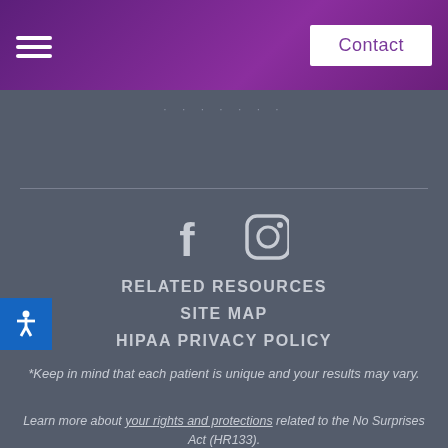Contact
[Figure (other): Facebook and Instagram social media icons]
RELATED RESOURCES
SITE MAP
HIPAA PRIVACY POLICY
*Keep in mind that each patient is unique and your results may vary.
Learn more about your rights and protections related to the No Surprises Act (HR133).